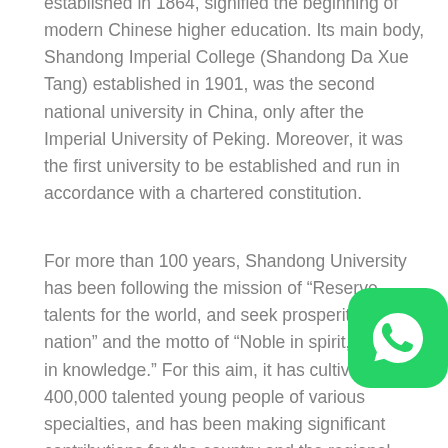established in 1864, signified the beginning of modern Chinese higher education. Its main body, Shandong Imperial College (Shandong Da Xue Tang) established in 1901, was the second national university in China, only after the Imperial University of Peking. Moreover, it was the first university to be established and run in accordance with a chartered constitution.
For more than 100 years, Shandong University has been following the mission of “Reserve talents for the world, and seek prosperity for the nation” and the motto of “Noble in spirit, endless in knowledge.” For this aim, it has cultivated over 400,000 talented young people of various specialties, and has been making significant contributions for the country and the regional economic and social development. As a comprehensive university with a wide coverage of academic disciplines, SDU attracts over 3000 international students from over 110 countries each year.
[Figure (logo): WhatsApp logo button - green rounded square with white phone handset icon]